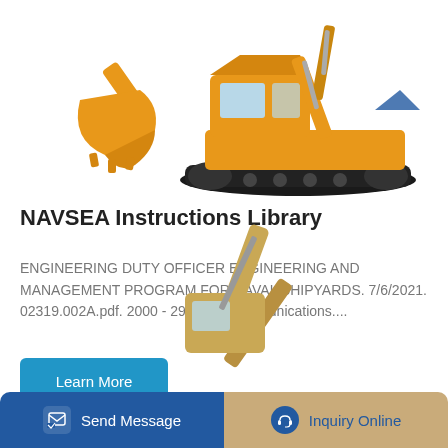[Figure (photo): Yellow excavator construction equipment shown from the front bucket detail (left) and full side profile (right) on white background]
NAVSEA Instructions Library
ENGINEERING DUTY OFFICER ENGINEERING AND MANAGEMENT PROGRAM FOR NAVAL SHIPYARDS. 7/6/2021. 02319.002A.pdf. 2000 - 2999 Telecommunications....
Learn More
[Figure (photo): Yellow/tan excavator arm and cab shown from the side, partially visible at bottom of page]
Send Message | Inquiry Online